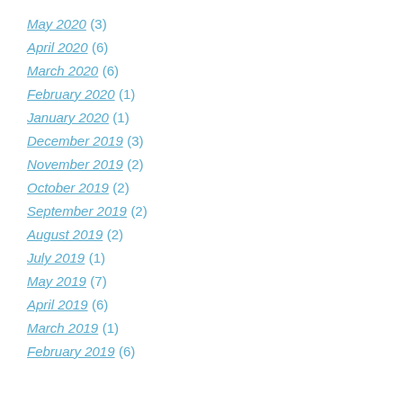May 2020 (3)
April 2020 (6)
March 2020 (6)
February 2020 (1)
January 2020 (1)
December 2019 (3)
November 2019 (2)
October 2019 (2)
September 2019 (2)
August 2019 (2)
July 2019 (1)
May 2019 (7)
April 2019 (6)
March 2019 (1)
February 2019 (6)